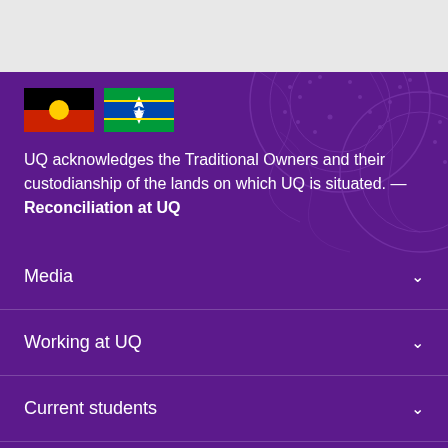[Figure (illustration): Aboriginal and Torres Strait Islander flags displayed side by side]
UQ acknowledges the Traditional Owners and their custodianship of the lands on which UQ is situated. — Reconciliation at UQ
Media
Working at UQ
Current students
Library
Contact